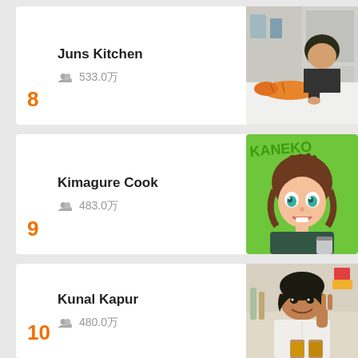8 — Juns Kitchen, 533.0万
[Figure (photo): Photo of person in kitchen with orange cat on counter]
9 — Kimagure Cook, 483.0万
[Figure (illustration): Anime/cartoon character avatar with KANEKO text on green background, chibi boy holding a can]
10 — Kunal Kapur, 480.0万
[Figure (photo): Photo of smiling man making peace sign in kitchen setting]